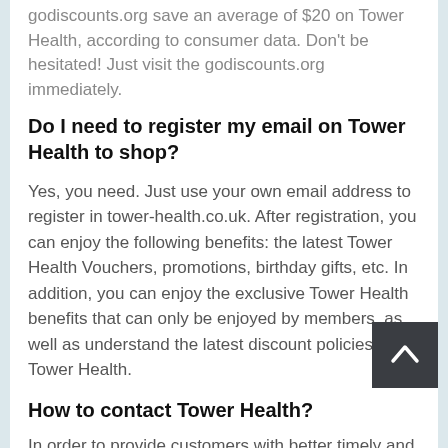godiscounts.org save an average of $20 on Tower Health, according to consumer data. Don't be hesitated! Just visit the godiscounts.org immediately.
Do I need to register my email on Tower Health to shop?
Yes, you need. Just use your own email address to register in tower-health.co.uk. After registration, you can enjoy the following benefits: the latest Tower Health Vouchers, promotions, birthday gifts, etc. In addition, you can enjoy the exclusive Tower Health benefits that can only be enjoyed by members, as well as understand the latest discount policies of Tower Health.
How to contact Tower Health?
In order to provide customers with better timely and effective consulting services, Tower Health opened a customer service channel. You can send a message to the customer service by